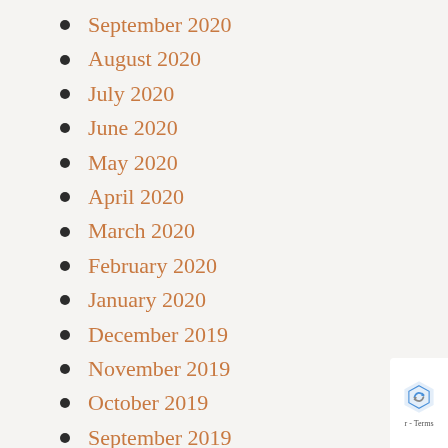September 2020
August 2020
July 2020
June 2020
May 2020
April 2020
March 2020
February 2020
January 2020
December 2019
November 2019
October 2019
September 2019
August 2019
July 2019
June 2019
May 2019